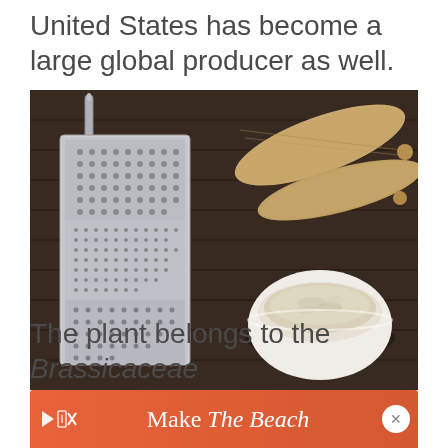United States has become a large global producer as well.
[Figure (photo): A metal box grater lying on a dark wooden surface next to two whole horseradish roots and a small white bowl filled with freshly grated horseradish.]
The plant belongs to the Brassicaceae fam...
[Figure (other): Advertisement banner: Make The Beach]